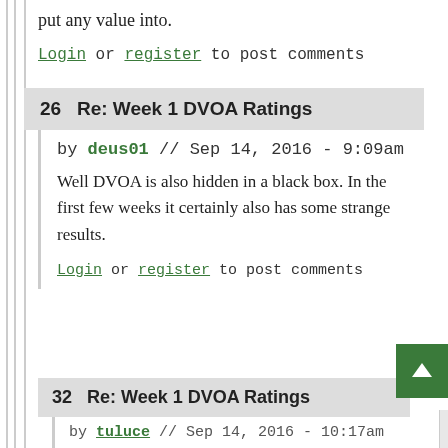put any value into.
Login or register to post comments
26   Re: Week 1 DVOA Ratings
by deus01 // Sep 14, 2016 - 9:09am
Well DVOA is also hidden in a black box. In the first few weeks it certainly also has some strange results.
Login or register to post comments
32   Re: Week 1 DVOA Ratings
by tuluce // Sep 14, 2016 - 10:17am